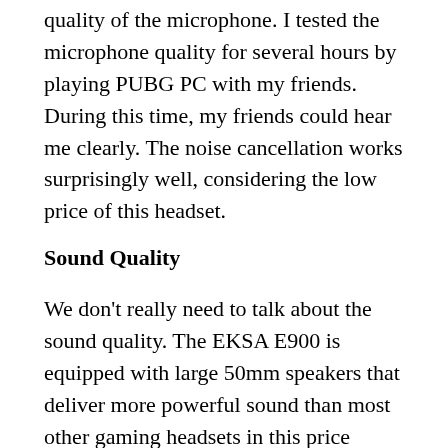quality of the microphone. I tested the microphone quality for several hours by playing PUBG PC with my friends. During this time, my friends could hear me clearly. The noise cancellation works surprisingly well, considering the low price of this headset.
Sound Quality
We don't really need to talk about the sound quality. The EKSA E900 is equipped with large 50mm speakers that deliver more powerful sound than most other gaming headsets in this price range. I've tried all the best-selling gaming headsets in this price range, including